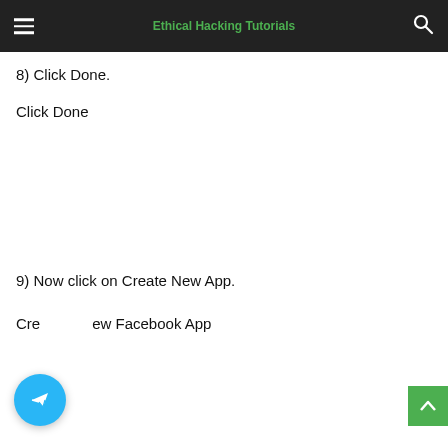Ethical Hacking Tutorials
8) Click Done.
Click Done
[Figure (screenshot): Screenshot placeholder showing Click Done step]
9) Now click on Create New App.
Create New Facebook App